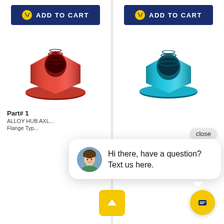[Figure (screenshot): E-commerce product listing screenshot showing two colored alloy hub axle nuts (red and cyan/blue) with 'ADD TO CART' buttons, product part numbers, descriptions, a live chat popup saying 'Hi there, have a question? Text us here.' with an avatar, a close bubble, a scroll-to-top button, and a chat icon button.]
ADD TO CART
ADD TO CART
Part# 1
ALLOY HUB AXL...
Flange Typ...
close
Hi there, have a question? Text us here.